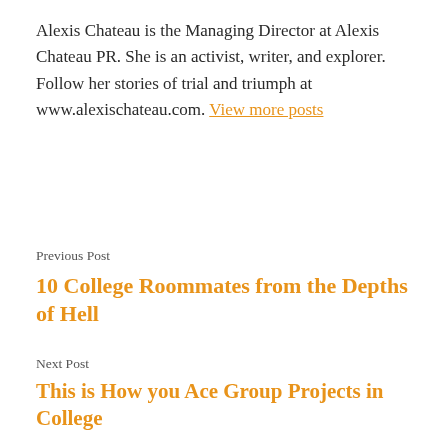Alexis Chateau is the Managing Director at Alexis Chateau PR. She is an activist, writer, and explorer. Follow her stories of trial and triumph at www.alexischateau.com. View more posts
Previous Post
10 College Roommates from the Depths of Hell
Next Post
This is How you Ace Group Projects in College